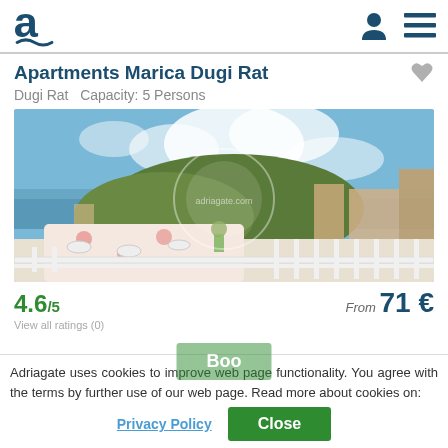Adriagate logo and navigation icons
Apartments Marica Dugi Rat
Dugi Rat  Capacity: 5 Persons
[Figure (photo): Balcony terrace with dining table set for breakfast, white railing fence, panoramic view of coastal town, green hillside with wind turbines, sea/ocean in background, blue sky with clouds]
4.6/5
From 71 €
Adriagate uses cookies to improve web page functionality. You agree with the terms by further use of our web page. Read more about cookies on:
Privacy Policy  Close